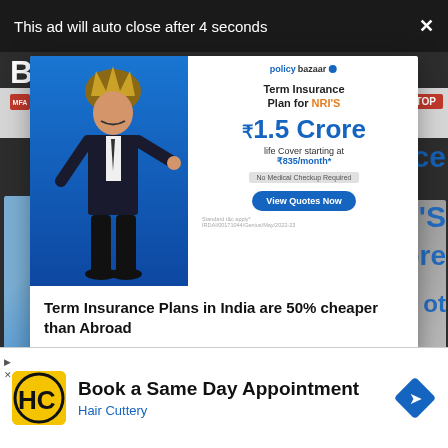This ad will auto close after 4 seconds  X
[Figure (screenshot): Policybazaar popup ad for Term Insurance Plan for NRI's - ₹1.5 Crore life cover starting at ₹835/month. Features a man in traditional royal attire, View Quotes Now button.]
Term Insurance Plans in India are 50% cheaper than Abroad
AD  Policybazaar Term Plans    BUY NOW
[Figure (logo): Hair Cuttery logo - HC letters on yellow background]
Book a Same Day Appointment
Hair Cuttery